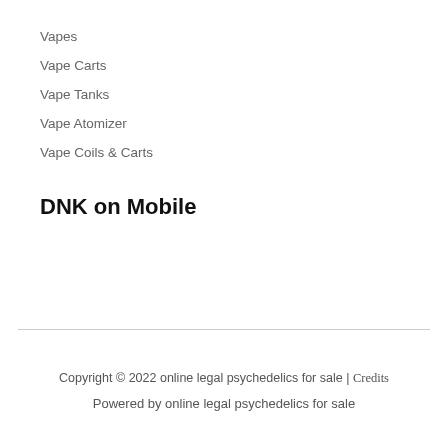Vapes
Vape Carts
Vape Tanks
Vape Atomizer
Vape Coils & Carts
DNK on Mobile
Copyright © 2022 online legal psychedelics for sale | Credits
Powered by online legal psychedelics for sale